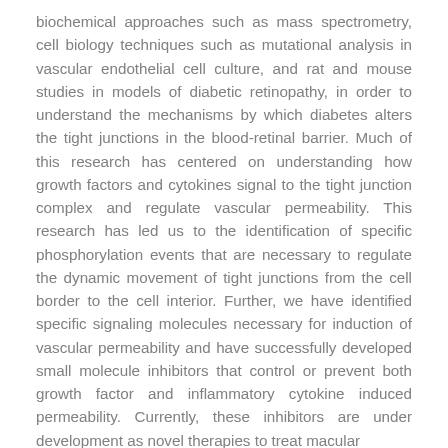biochemical approaches such as mass spectrometry, cell biology techniques such as mutational analysis in vascular endothelial cell culture, and rat and mouse studies in models of diabetic retinopathy, in order to understand the mechanisms by which diabetes alters the tight junctions in the blood-retinal barrier. Much of this research has centered on understanding how growth factors and cytokines signal to the tight junction complex and regulate vascular permeability. This research has led us to the identification of specific phosphorylation events that are necessary to regulate the dynamic movement of tight junctions from the cell border to the cell interior. Further, we have identified specific signaling molecules necessary for induction of vascular permeability and have successfully developed small molecule inhibitors that control or prevent both growth factor and inflammatory cytokine induced permeability. Currently, these inhibitors are under development as novel therapies to treat macular